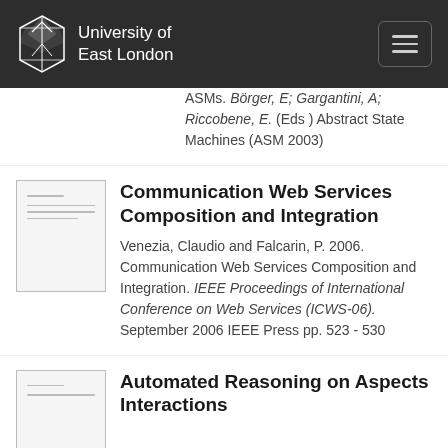University of East London
ASMs. Börger, E; Gargantini, A; Riccobene, E. (Eds ) Abstract State Machines (ASM 2003)
[Figure (other): Thumbnail of document page for Communication Web Services Composition and Integration]
Communication Web Services Composition and Integration
Venezia, Claudio and Falcarin, P. 2006. Communication Web Services Composition and Integration. IEEE Proceedings of International Conference on Web Services (ICWS-06). September 2006 IEEE Press pp. 523 - 530
[Figure (other): Thumbnail of document page for Automated Reasoning on Aspects Interactions]
Automated Reasoning on Aspects Interactions